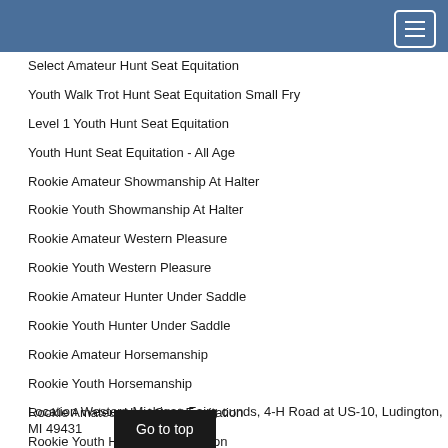Select Amateur Hunt Seat Equitation
Youth Walk Trot Hunt Seat Equitation Small Fry
Level 1 Youth Hunt Seat Equitation
Youth Hunt Seat Equitation - All Age
Rookie Amateur Showmanship At Halter
Rookie Youth Showmanship At Halter
Rookie Amateur Western Pleasure
Rookie Youth Western Pleasure
Rookie Amateur Hunter Under Saddle
Rookie Youth Hunter Under Saddle
Rookie Amateur Horsemanship
Rookie Youth Horsemanship
Rookie Amateur Hunt Seat Equitation
Rookie Youth Hunt Seat Equitation
Location Western Michigan Fairgrounds, 4-H Road at US-10, Ludington, MI 49431